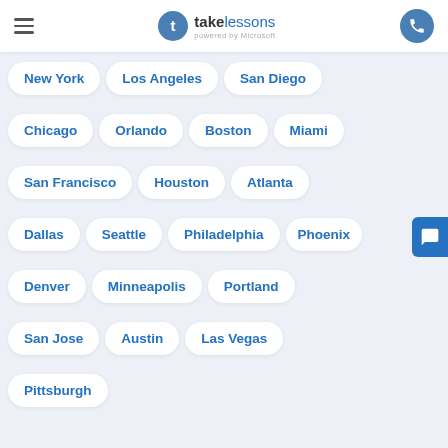takelessons powered by Microsoft
New York
Los Angeles
San Diego
Chicago
Orlando
Boston
Miami
San Francisco
Houston
Atlanta
Dallas
Seattle
Philadelphia
Phoenix
Denver
Minneapolis
Portland
San Jose
Austin
Las Vegas
Pittsburgh